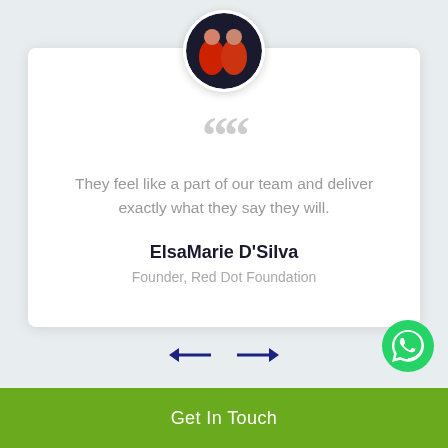[Figure (photo): Circular profile photo of two women in red attire against a dark background with text/logos.]
““
They feel like a part of our team and deliver exactly what they say they will.
ElsaMarie D'Silva
Founder, Red Dot Foundation
[Figure (logo): WhatsApp green circle icon with phone receiver.]
[Figure (infographic): Left and right navigation arrows in dark navy blue.]
Get In Touch